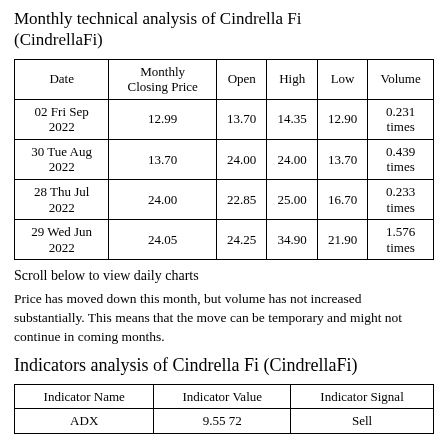Monthly technical analysis of Cindrella Fi (CindrellaFi)
| Date | Monthly Closing Price | Open | High | Low | Volume |
| --- | --- | --- | --- | --- | --- |
| 02 Fri Sep 2022 | 12.99 | 13.70 | 14.35 | 12.90 | 0.231 times |
| 30 Tue Aug 2022 | 13.70 | 24.00 | 24.00 | 13.70 | 0.439 times |
| 28 Thu Jul 2022 | 24.00 | 22.85 | 25.00 | 16.70 | 0.233 times |
| 29 Wed Jun 2022 | 24.05 | 24.25 | 34.90 | 21.90 | 1.576 times |
Scroll below to view daily charts
Price has moved down this month, but volume has not increased substantially. This means that the move can be temporary and might not continue in coming months.
Indicators analysis of Cindrella Fi (CindrellaFi)
| Indicator Name | Indicator Value | Indicator Signal |
| --- | --- | --- |
| ADX | 9.55 72 | Sell |